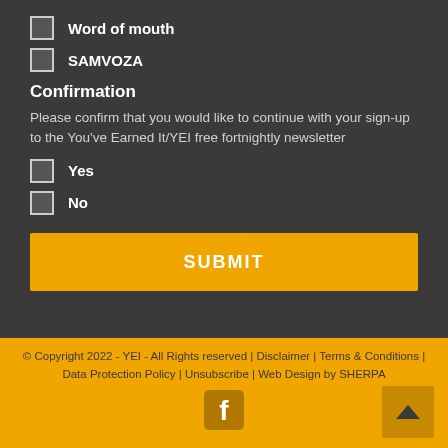Word of mouth
SAMVOZA
Confirmation
Please confirm that you would like to continue with your sign-up to the You've Earned It/YEI free fortnightly newsletter
Yes
No
SUBMIT
© Copyright 2022 - YEI - All Rights reserved | Disclaimer | Terms & Conditions | Data Protection Policy | Unsubscribe | Web Design by SHERPA